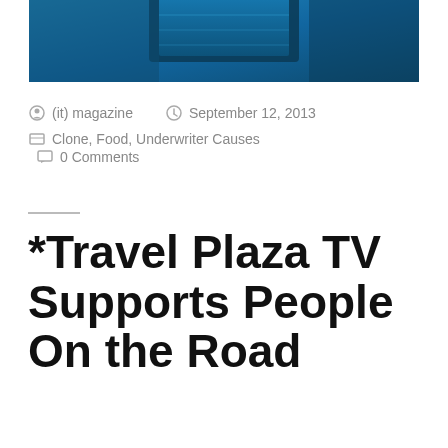[Figure (photo): Blue-toned image of a TV display or screen, partially visible at the top of the page]
(it) magazine   September 12, 2013
Clone, Food, Underwriter Causes   0 Comments
*Travel Plaza TV Supports People On the Road